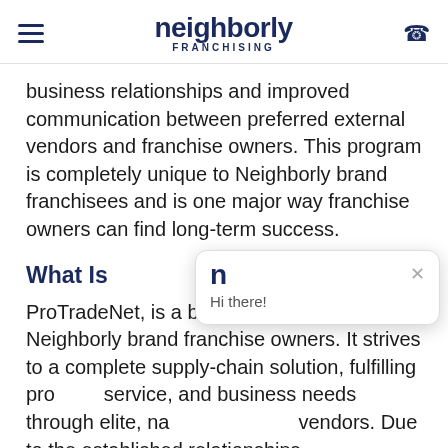neighborly FRANCHISING
business relationships and improved communication between preferred external vendors and franchise owners. This program is completely unique to Neighborly brand franchisees and is one major way franchise owners can find long-term success.
What Is
ProTradeNet, is a benefit available only to Neighborly brand franchise owners. It strives to be a complete supply-chain solution, fulfilling product, service, and business needs through elite, nationally-vetted vendors. Due to the established relationships